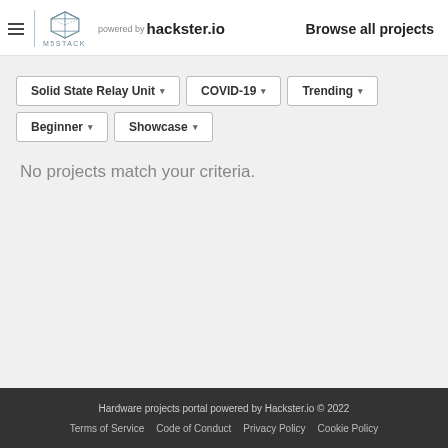M5STACK powered by hackster.io — Browse all projects
Solid State Relay Unit ▾
COVID-19 ▾
Trending ▾
Beginner ▾
Showcase ▾
No projects match your criteria.
Hardware projects portal powered by Hackster.io © 2022
Terms of Service    Code of Conduct    Privacy Policy    Cookie Policy